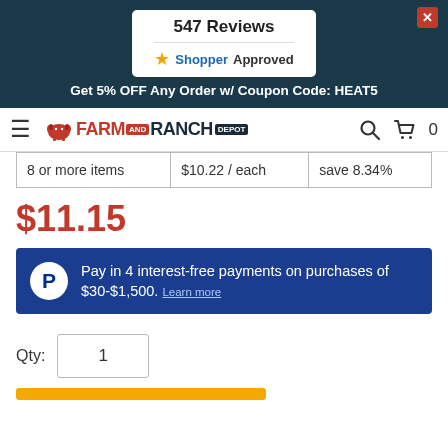547 Reviews — ShopperApproved
Get 5% OFF Any Order w/ Coupon Code: HEAT5
[Figure (logo): Farm and Ranch Depot logo with hamburger menu, search icon, and cart icon showing 0 items]
|  |  |  |
| --- | --- | --- |
| 8 or more items | $10.22 / each | save 8.34% |
$11.15
Pay in 4 interest-free payments on purchases of $30-$1,500. Learn more
Qty: 1